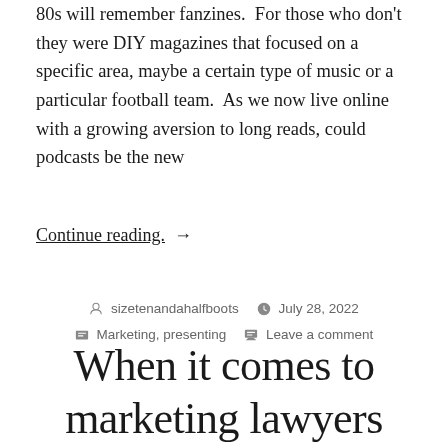80s will remember fanzines.  For those who don't they were DIY magazines that focused on a specific area, maybe a certain type of music or a particular football team.  As we now live online with a growing aversion to long reads, could podcasts be the new
Continue reading.  →
By sizetenandahalfboots  |  July 28, 2022  |  Marketing, presenting  |  Leave a comment
When it comes to marketing lawyers and accountants, it's easy to